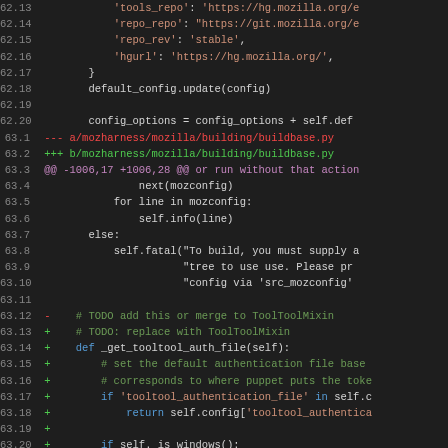[Figure (screenshot): Code diff view showing Python source file changes in mozharness/mozilla/building/buildbase.py with line numbers, colored diff markers (red for removed, green for added, magenta for @@ headers), dark background terminal/editor style.]